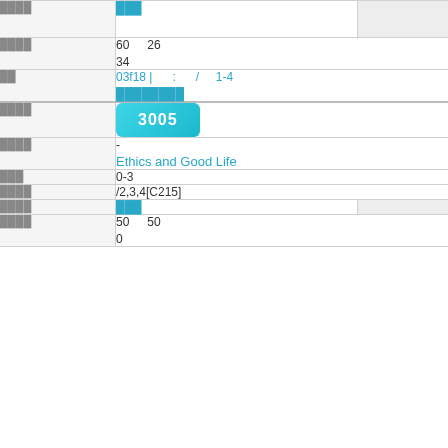| Field | Value |  |
| --- | --- | --- |
| ████ | ███ |  |
| ████ | 60  26
34 |  |
| ██ | 03f18 |  :  /  1-4
████████ |  |
| ████ | 3005 |  |
| ████ | -
Ethics and Good Life |  |
| ███ | 0-3 |  |
| ████ | /2,3,4[C215] |  |
| ████ | ███ |  |
| ████ | 50  50
0 |  |